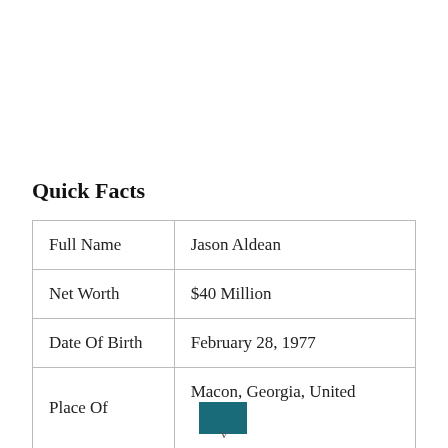Quick Facts
| Full Name | Jason Aldean |
| Net Worth | $40 Million |
| Date Of Birth | February 28, 1977 |
| Place Of | Macon, Georgia, United |
v